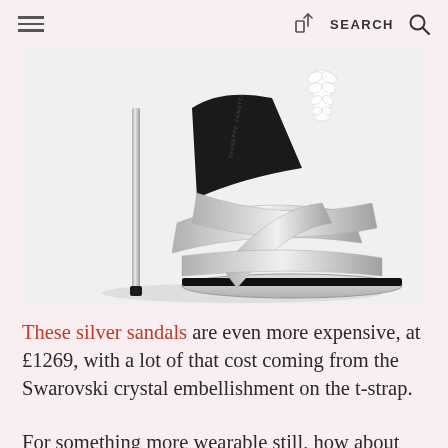≡  [share icon]  SEARCH  🔍
[Figure (photo): Close-up of a silver high-heel sandal with Swarovski crystal embellishment on the t-strap, Giuseppe Zanotti brand, on white background.]
These silver sandals are even more expensive, at £1269, with a lot of that cost coming from the Swarovski crystal embellishment on the t-strap.
For something more wearable still, how about